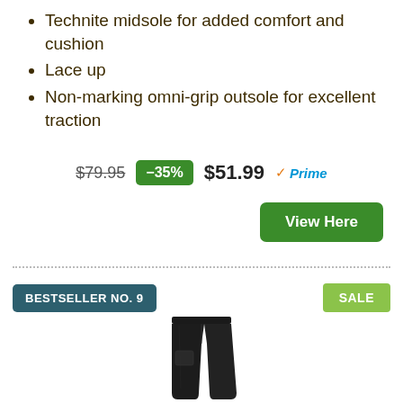Technite midsole for added comfort and cushion
Lace up
Non-marking omni-grip outsole for excellent traction
$79.95  −35%  $51.99 Prime
View Here
BESTSELLER NO. 9
SALE
[Figure (photo): Black cargo pants shown full-length on white background]